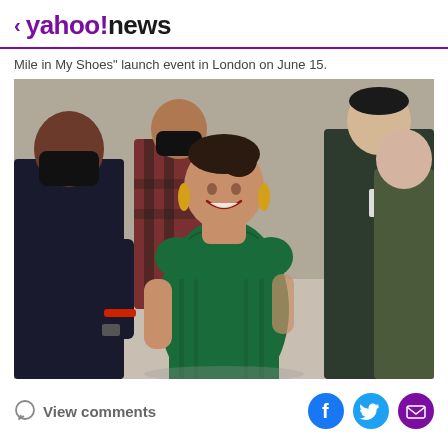< yahoo!news
Mile in My Shoes" launch event in London on June 15.
[Figure (photo): A woman in a green off-shoulder dress smiling and walking, surrounded by people, one wearing a black mask.]
View comments